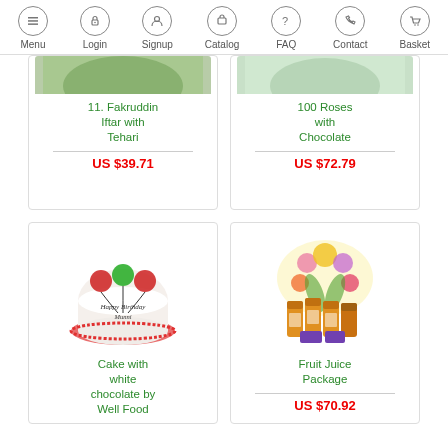Menu | Login | Signup | Catalog | FAQ | Contact | Basket
11. Fakruddin Iftar with Tehari
US $39.71
100 Roses with Chocolate
US $72.79
[Figure (photo): Birthday cake with white chocolate decoration by Well Food]
Cake with white chocolate by Well Food
[Figure (photo): Fruit juice package with flowers]
Fruit Juice Package
US $70.92